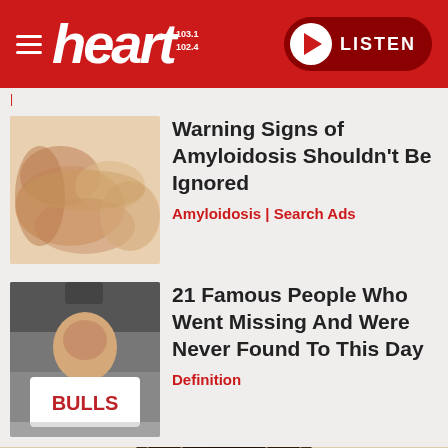heart 103.1 102.4 LISTEN
|
[Figure (photo): Close-up photo of hands massaging or pressing on skin/muscle tissue]
Warning Signs of Amyloidosis Shouldn't Be Ignored
Amyloidosis | Search Ads
[Figure (photo): Man wearing a Chicago Bulls jersey number 13, smiling, with a cap on]
21 Famous People Who Went Missing And Were Never Found To This Day
Definition
[Figure (photo): Person with dreadlocks, partial view from top of head, cropped at bottom of page]